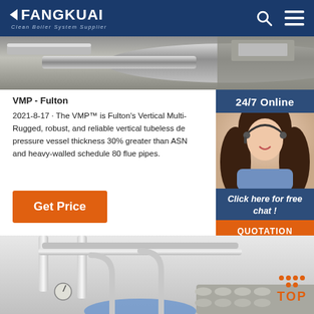FANGKUAI — Clean Boiler System Supplier
[Figure (photo): Industrial boiler pipes and machinery, hero banner image]
VMP - Fulton
2021-8-17 · The VMP™ is Fulton's Vertical Multi- Rugged, robust, and reliable vertical tubeless de pressure vessel thickness 30% greater than ASM and heavy-walled schedule 80 flue pipes.
Get Price
[Figure (photo): Customer service representative with headset, sidebar chat widget showing 24/7 Online, Click here for free chat!, and QUOTATION button]
[Figure (photo): Bottom image of boiler/pipe equipment with TOP scroll button in orange]